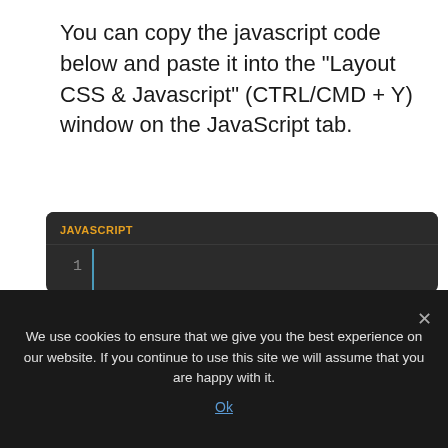You can copy the javascript code below and paste it into the "Layout CSS & Javascript" (CTRL/CMD + Y) window on the JavaScript tab.
[Figure (screenshot): Dark-themed code editor panel labeled JAVASCRIPT showing 4 lines of code: line 1 is empty, line 2 shows 'var filterHelpers = {', line 3 shows '/**', line 4 shows '* [qToArr description]']
We use cookies to ensure that we give you the best experience on our website. If you continue to use this site we will assume that you are happy with it.
Ok